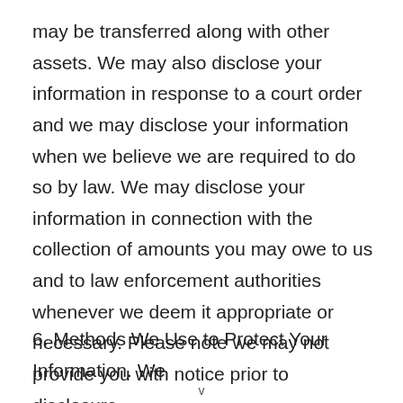may be transferred along with other assets. We may also disclose your information in response to a court order and we may disclose your information when we believe we are required to do so by law. We may disclose your information in connection with the collection of amounts you may owe to us and to law enforcement authorities whenever we deem it appropriate or necessary. Please note we may not provide you with notice prior to disclosure.
6. Methods We Use to Protect Your Information. We
v